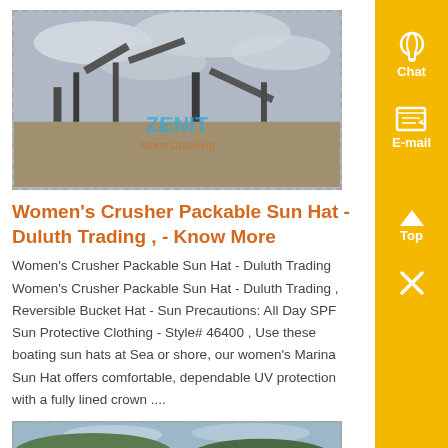[Figure (photo): Industrial machinery/crusher facility with cloudy sky, ZENIT watermark overlay]
Women's Crusher Packable Sun Hat - Duluth Trading , - Know More
Women's Crusher Packable Sun Hat - Duluth Trading Women's Crusher Packable Sun Hat - Duluth Trading , Reversible Bucket Hat - Sun Precautions: All Day SPF Sun Protective Clothing - Style# 46400 , Use these boating sun hats at Sea or shore, our women's Marina Sun Hat offers comfortable, dependable UV protection with a fully lined crown ....
[Figure (photo): Coastal/landscape photo with water and hills visible]